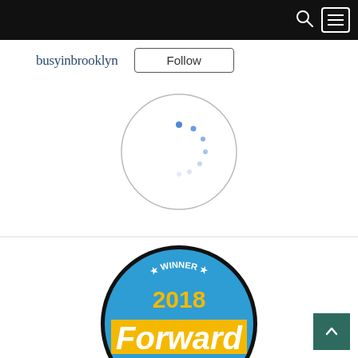Navigation bar with search and menu icons
busyinbrooklyn  Follow
[Figure (other): Loading spinner circle with blue dots]
[Figure (logo): Forward Food Choice Award 2018 Winner badge presented by Belvedere Vodka. Blue circular badge with gold/yellow banner reading 'Forward', 'WINNER' at top in white with stars, '2018' in yellow, 'Food Choice Award' in black, 'Presented By' and 'Belvedere Vodka' logo at bottom, www.forward.com URL.]